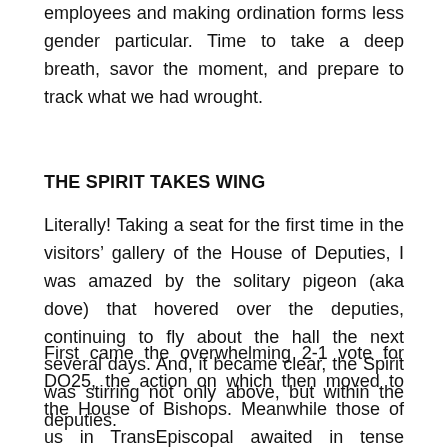employees and making ordination forms less gender particular. Time to take a deep breath, savor the moment, and prepare to track what we had wrought.
THE SPIRIT TAKES WING
Literally! Taking a seat for the first time in the visitors' gallery of the House of Deputies, I was amazed by the solitary pigeon (aka dove) that hovered over the deputies, continuing to fly about the hall the next several days. And, it became clear, the Spirit was stirring not only above, but within the deputies.
First came the overwhelming 2-1 vote for DO25, the action on which then moved to the House of Bishops. Meanwhile those of us in TransEpiscopal awaited in tense anticipation the introduction in the House Deputies of our trans-specific resolutions, the first of which would be DO12 on hate crimes legislation. We waited and waited...and waited through the afternoon of Monday, July 13. Getting the impression that it